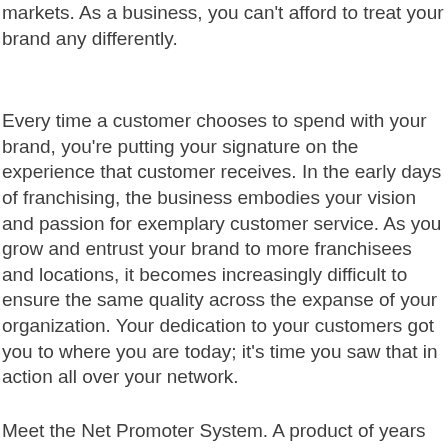markets. As a business, you can't afford to treat your brand any differently.
Every time a customer chooses to spend with your brand, you're putting your signature on the experience that customer receives. In the early days of franchising, the business embodies your vision and passion for exemplary customer service. As you grow and entrust your brand to more franchisees and locations, it becomes increasingly difficult to ensure the same quality across the expanse of your organization. Your dedication to your customers got you to where you are today; it's time you saw that in action all over your network.
Meet the Net Promoter System. A product of years...